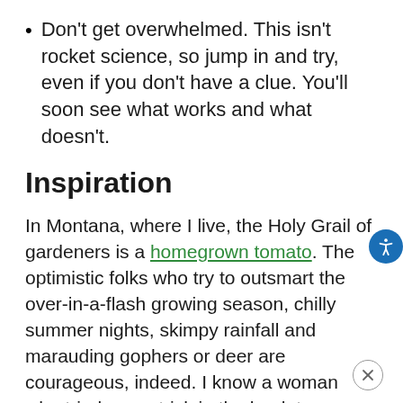Don't get overwhelmed. This isn't rocket science, so jump in and try, even if you don't have a clue. You'll soon see what works and what doesn't.
Inspiration
In Montana, where I live, the Holy Grail of gardeners is a homegrown tomato. The optimistic folks who try to outsmart the over-in-a-flash growing season, chilly summer nights, skimpy rainfall and marauding gophers or deer are courageous, indeed. I know a woman who tried every trick in the book to grow tomatoes she could brag about. She started them early, protected them from wind and cold, and staked them up oh-so carefully.